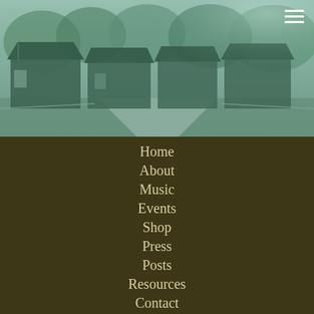[Figure (photo): Vintage teal-tinted photograph of old rural wooden shacks/buildings along a dirt road with trees and vegetation in the background.]
Home
About
Music
Events
Shop
Press
Posts
Resources
Contact
[Figure (illustration): Social media icons: Facebook, Twitter, Instagram, LinkedIn — white on dark brown background]
Copyright ©2020 Harmonic Alliance | Site design by sweetbrews.com